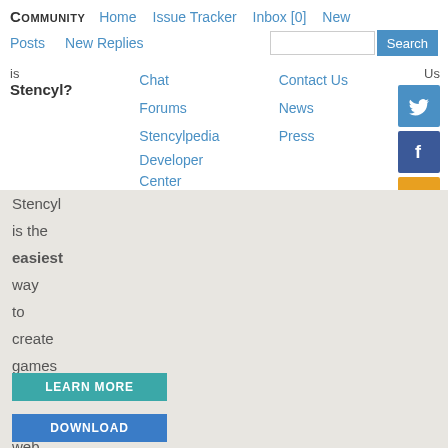COMMUNITY  Home  Issue Tracker  Inbox [0]  New  Posts  New Replies  Search
is
Stencyl?
Chat
Forums
Stencylpedia
Developer Center
Contact Us
News
Press
[Figure (other): Twitter social media button (blue square with bird icon)]
[Figure (other): Facebook social media button (dark blue square with f icon)]
[Figure (other): RSS feed button (orange square with RSS icon)]
Stencyl is the easiest way to create games for mobile, web and desktop without code.
LEARN MORE
DOWNLOAD